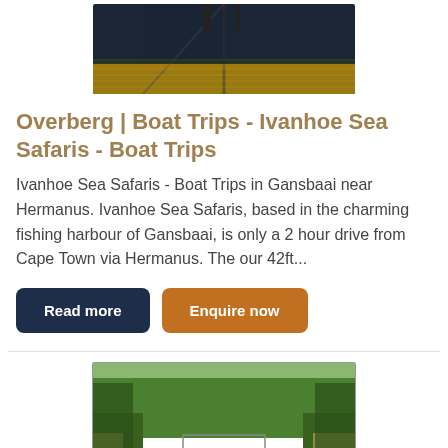[Figure (photo): Top portion of a boat on dark water at sunset/dusk, viewed from above]
Overberg | Boat Trips - Ivanhoe Sea Safaris - Boat Trips
Ivanhoe Sea Safaris - Boat Trips in Gansbaai near Hermanus. Ivanhoe Sea Safaris, based in the charming fishing harbour of Gansbaai, is only a 2 hour drive from Cape Town via Hermanus. The our 42ft...
Read more | Enquire now
[Figure (photo): A boat with passengers on a river or lagoon surrounded by dense green reeds and trees]